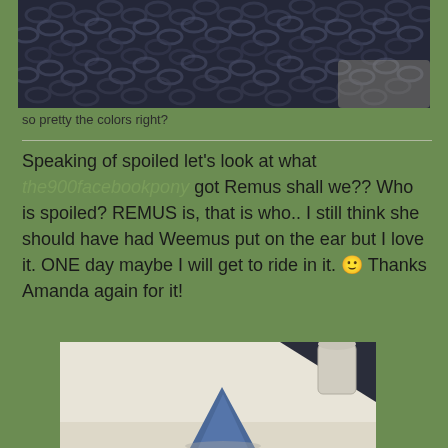[Figure (photo): Close-up photo of dark navy/black knitted or yarn textured fabric showing the colors]
so pretty the colors right?
Speaking of spoiled let's look at what the900facebookpony got Remus shall we?? Who is spoiled? REMUS is, that is who.. I still think she should have had Weemus put on the ear but I love it. ONE day maybe I will get to ride in it. 🙂 Thanks Amanda again for it!
[Figure (photo): Photo of a blue fabric item (possibly a hat or bonnet) on a light-colored surface, with a dark object and white container visible in the background]